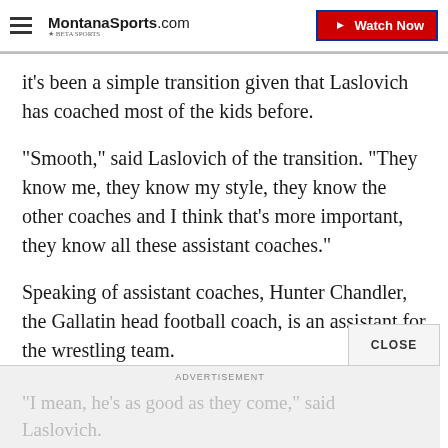MontanaSports.com | Watch Now
it's been a simple transition given that Laslovich has coached most of the kids before.
“Smooth,” said Laslovich of the transition. "They know me, they know my style, they know the other coaches and I think that’s more important, they know all these assistant coaches.”
Speaking of assistant coaches, Hunter Chandler, the Gallatin head football coach, is an assistant for the wrestling team.
ADVERTISEMENT
“I mean, he’s as good as they come,” said Laslovich.